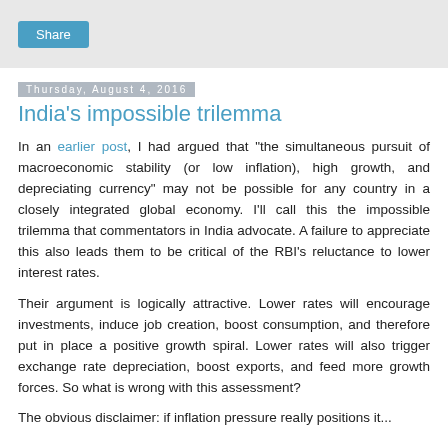Share
Thursday, August 4, 2016
India's impossible trilemma
In an earlier post, I had argued that "the simultaneous pursuit of macroeconomic stability (or low inflation), high growth, and depreciating currency" may not be possible for any country in a closely integrated global economy. I'll call this the impossible trilemma that commentators in India advocate. A failure to appreciate this also leads them to be critical of the RBI's reluctance to lower interest rates.
Their argument is logically attractive. Lower rates will encourage investments, induce job creation, boost consumption, and therefore put in place a positive growth spiral. Lower rates will also trigger exchange rate depreciation, boost exports, and feed more growth forces. So what is wrong with this assessment?
The obvious disclaimer: if inflation pressure really positions her...